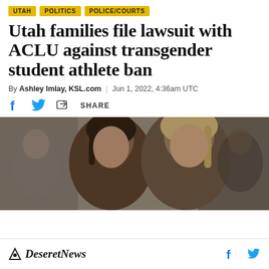UTAH | POLITICS | POLICE/COURTS
Utah families file lawsuit with ACLU against transgender student athlete ban
By Ashley Imlay, KSL.com | Jun 1, 2022, 4:36am UTC
[Figure (photo): Group of people, including women, photographed in what appears to be an indoor setting. Two women are prominently visible in the foreground.]
Deseret News